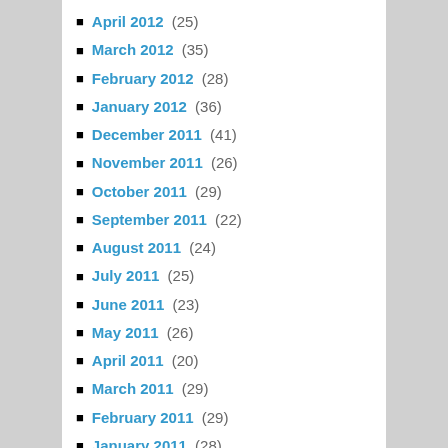April 2012 (25)
March 2012 (35)
February 2012 (28)
January 2012 (36)
December 2011 (41)
November 2011 (26)
October 2011 (29)
September 2011 (22)
August 2011 (24)
July 2011 (25)
June 2011 (23)
May 2011 (26)
April 2011 (20)
March 2011 (29)
February 2011 (29)
January 2011 (28)
December 2010 (40)
November 2010 (23)
October 2010 (29)
September 2010 (27)
August 2010 (27)